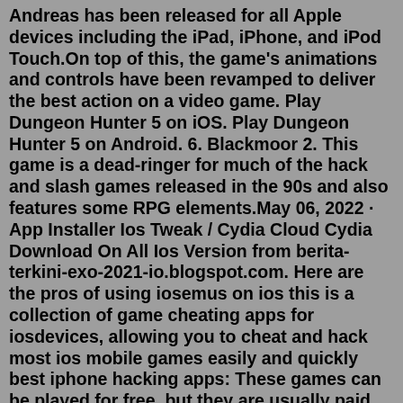Andreas has been released for all Apple devices including the iPad, iPhone, and iPod Touch.On top of this, the game's animations and controls have been revamped to deliver the best action on a video game. Play Dungeon Hunter 5 on iOS. Play Dungeon Hunter 5 on Android. 6. Blackmoor 2. This game is a dead-ringer for much of the hack and slash games released in the 90s and also features some RPG elements.May 06, 2022 · App Installer Ios Tweak / Cydia Cloud Cydia Download On All Ios Version from berita-terkini-exo-2021-io.blogspot.com. Here are the pros of using iosemus on ios this is a collection of game cheating apps for iosdevices, allowing you to cheat and hack most ios mobile games easily and quickly best iphone hacking apps: These games can be played for free, but they are usually paid. Mar 07, 2021 · Super Stylist Hack online 2021 Super Stylist Hack You&#39;ve just realized that you might turn your mad shopping, liven up and makeup skills into money… by being truly an excellent stylist girl! <strong>We're sorry, but appdb doesn't work